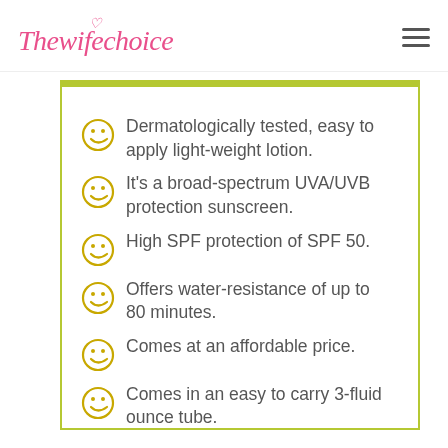Thewifechoice
Dermatologically tested, easy to apply light-weight lotion.
It's a broad-spectrum UVA/UVB protection sunscreen.
High SPF protection of SPF 50.
Offers water-resistance of up to 80 minutes.
Comes at an affordable price.
Comes in an easy to carry 3-fluid ounce tube.